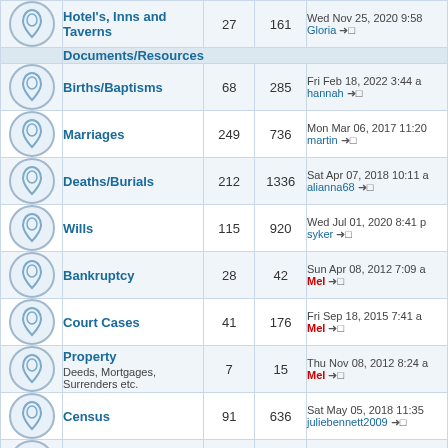|  | Forum | Topics | Posts | Last Post |
| --- | --- | --- | --- | --- |
| [icon] | Hotel's, Inns and Taverns | 27 | 161 | Wed Nov 25, 2020 9:58
Gloria →□ |
| [category] | Documents/Resources |  |  |  |
| [icon] | Births/Baptisms | 68 | 285 | Fri Feb 18, 2022 3:44 a
hannah →□ |
| [icon] | Marriages | 249 | 736 | Mon Mar 06, 2017 11:20
martin →□ |
| [icon] | Deaths/Burials | 212 | 1336 | Sat Apr 07, 2018 10:11 a
alianna68 →□ |
| [icon] | Wills | 115 | 920 | Wed Jul 01, 2020 8:41 p
syker →□ |
| [icon] | Bankruptcy | 28 | 42 | Sun Apr 08, 2012 7:09 a
Mel →□ |
| [icon] | Court Cases | 41 | 176 | Fri Sep 18, 2015 7:41 a
Mel →□ |
| [icon] | Property
Deeds, Mortgages, Surrenders etc. | 7 | 15 | Thu Nov 08, 2012 8:24 a
Mel →□ |
| [icon] | Census | 91 | 636 | Sat May 05, 2018 11:35
juliebennett2009 →□ |
| [icon] | Unwanted Postcards | 5 | 7 | Wed Nov 05, 2008 7:59
Leaver →□ |
| [icon] | Books
Sales/Wants or any news relating to rare books, | 105 | 641 | Sat Nov 13, 2021 11:15
31wal →□ |